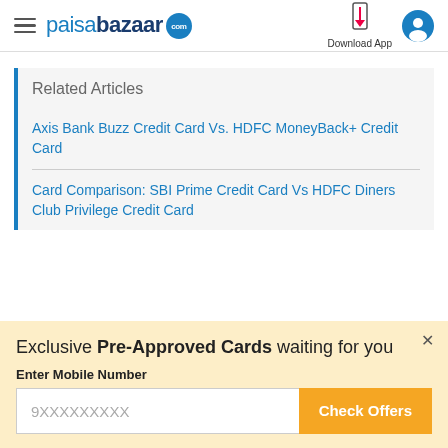paisabazaar.com — Download App
Related Articles
Axis Bank Buzz Credit Card Vs. HDFC MoneyBack+ Credit Card
Card Comparison: SBI Prime Credit Card Vs HDFC Diners Club Privilege Credit Card
Exclusive Pre-Approved Cards waiting for you
Enter Mobile Number
9XXXXXXXXX
Check Offers